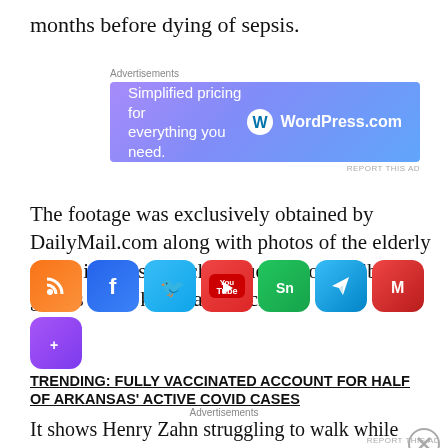months before dying of sepsis.
[Figure (screenshot): WordPress.com advertisement banner: 'Simplified pricing for everything you need.' with WordPress.com logo on gradient blue/purple background]
The footage was exclusively obtained by DailyMail.com along with photos of the elderly man's injuries, which included broken ribs and grazes to his knees and back.
[Figure (infographic): Social media sharing icons: RSS, Facebook, Twitter, YouTube, social network (green), Telegram, medium-red, purple]
TRENDING: FULLY VACCINATED ACCOUNT FOR HALF OF ARKANSAS' ACTIVE COVID CASES
It shows Henry Zahn struggling to walk while tethered to his bed with a catheter in February 2021 – a month
Advertisements